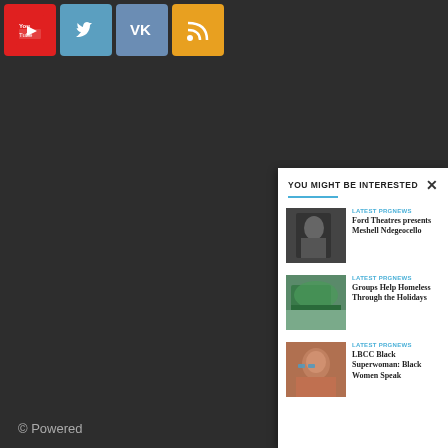[Figure (screenshot): Social media buttons: YouTube (red), Twitter (blue), VK (steel blue), RSS (orange/yellow)]
© Powered
YOU MIGHT BE INTERESTED
[Figure (photo): Black woman in profile view, looking upward, black clothing, dark background]
LATEST PRGNEWS
Ford Theatres presents Meshell Ndegeocello
[Figure (photo): Outdoor gathering with green tent canopy, people gathered underneath, street scene]
LATEST PRGNEWS
Groups Help Homeless Through the Holidays
[Figure (photo): Black woman with curly hair and glasses, smiling, close-up portrait]
LATEST PRGNEWS
LBCC Black Superwoman: Black Women Speak